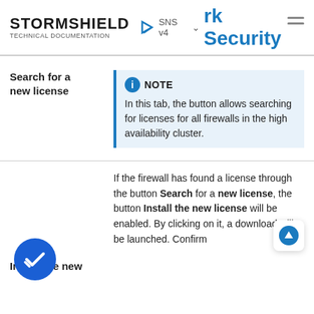STORMSHIELD TECHNICAL DOCUMENTATION — SNS v4 — rk Security
Search for a new license
NOTE
In this tab, the button allows searching for licenses for all firewalls in the high availability cluster.
If the firewall has found a license through the button Search for a new license, the button Install the new license will be enabled. By clicking on it, a download will be launched. Confirm
Install the new